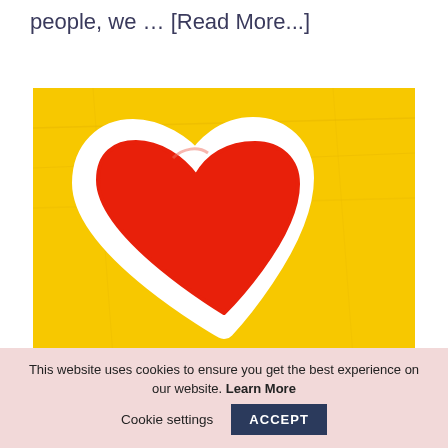people, we … [Read More...]
[Figure (illustration): Painting of a large red heart with a white border on a bright yellow textured background.]
This website uses cookies to ensure you get the best experience on our website. Learn More   Cookie settings   ACCEPT